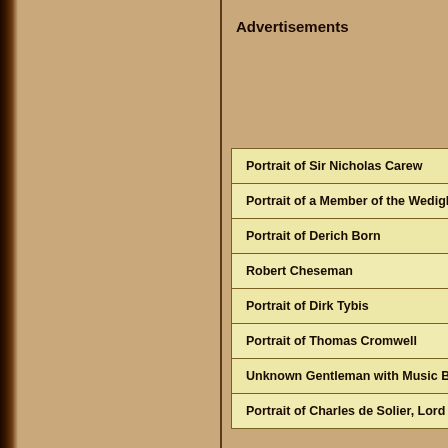Advertisements
Portrait of Sir Nicholas Carew
Portrait of a Member of the Wedigh
Portrait of Derich Born
Robert Cheseman
Portrait of Dirk Tybis
Portrait of Thomas Cromwell
Unknown Gentleman with Music Bo
Portrait of Charles de Solier, Lord o